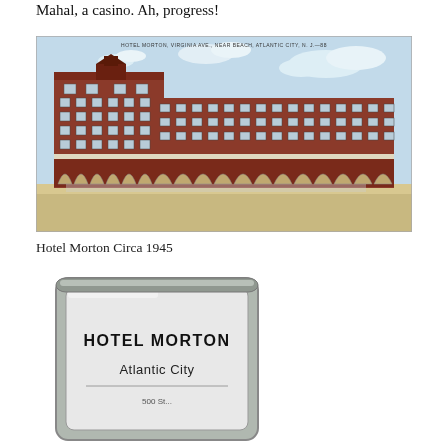Mahal, a casino. Ah, progress!
[Figure (photo): Vintage postcard photograph of Hotel Morton, Virginia Ave., Near Beach, Atlantic City, N.J. — a large multi-story red brick hotel building, circa 1945]
Hotel Morton Circa 1945
[Figure (photo): Photo of a Hotel Morton matchbook or soap bar with text reading HOTEL MORTON Atlantic City, 500 St...]